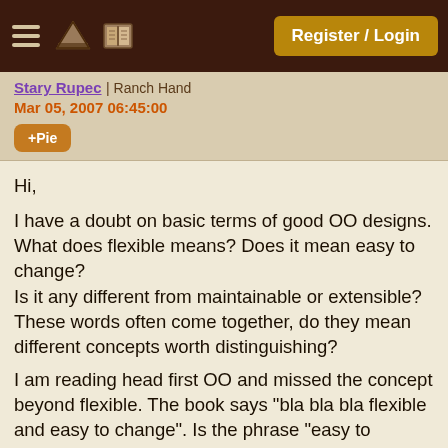Register / Login
Stary Rupec | Ranch Hand
Mar 05, 2007 06:45:00
+Pie
Hi,

I have a doubt on basic terms of good OO designs. What does flexible means? Does it mean easy to change?
Is it any different from maintainable or extensible? These words often come together, do they mean different concepts worth distinguishing?

I am reading head first OO and missed the concept beyond flexible. The book says "bla bla bla flexible and easy to change". Is the phrase "easy to change" redundant in the quoted sentence?

Thanks
[ March 05, 2007: Message edited by: Jasiek Motyka ]